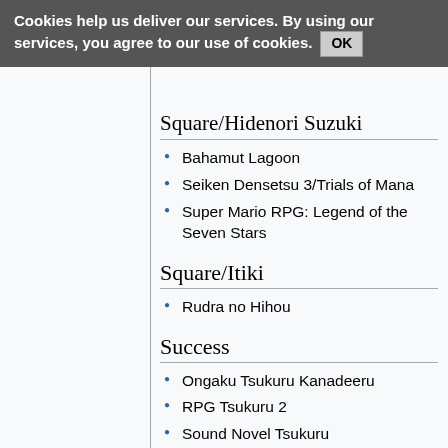Cookies help us deliver our services. By using our services, you agree to our use of cookies. OK
Square/Hidenori Suzuki
Bahamut Lagoon
Seiken Densetsu 3/Trials of Mana
Super Mario RPG: Legend of the Seven Stars
Square/Itiki
Rudra no Hihou
Success
Ongaku Tsukuru Kanadeeru
RPG Tsukuru 2
Sound Novel Tsukuru
System Vision
Battle Master: Kyuukyoku no Senshitachi